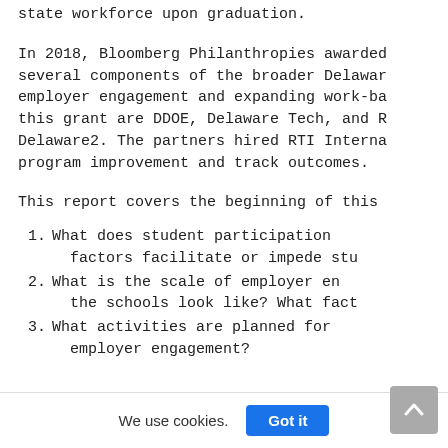state workforce upon graduation.
In 2018, Bloomberg Philanthropies awarded several components of the broader Delawar employer engagement and expanding work-ba this grant are DDOE, Delaware Tech, and R Delaware2. The partners hired RTI Interna program improvement and track outcomes.
This report covers the beginning of this
1. What does student participation factors facilitate or impede stu
2. What is the scale of employer en the schools look like? What fact
3. What activities are planned for employer engagement?